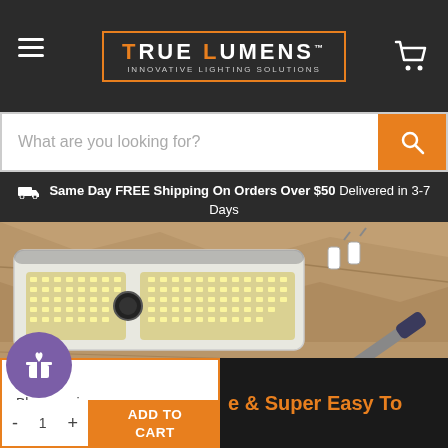TRUE LUMENS™ INNOVATIVE LIGHTING SOLUTIONS
What are you looking for?
Same Day FREE Shipping On Orders Over $50 Delivered in 3-7 Days
[Figure (photo): LED solar outdoor motion sensor light with screwdriver and mounting hardware on stone surface]
Black Housing
ADD TO CART
e & Super Easy To